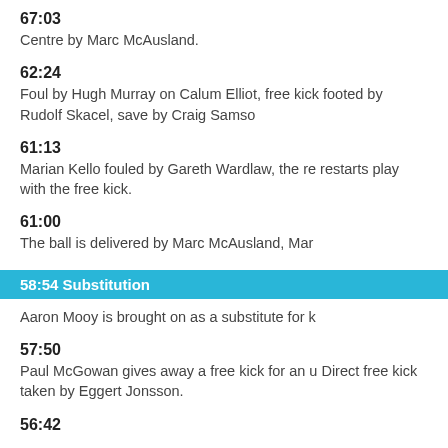67:03
Centre by Marc McAusland.
62:24
Foul by Hugh Murray on Calum Elliot, free kick footed by Rudolf Skacel, save by Craig Samso…
61:13
Marian Kello fouled by Gareth Wardlaw, the re… restarts play with the free kick.
61:00
The ball is delivered by Marc McAusland, Mar…
58:54 Substitution
Aaron Mooy is brought on as a substitute for k…
57:50
Paul McGowan gives away a free kick for an u… Direct free kick taken by Eggert Jonsson.
56:42